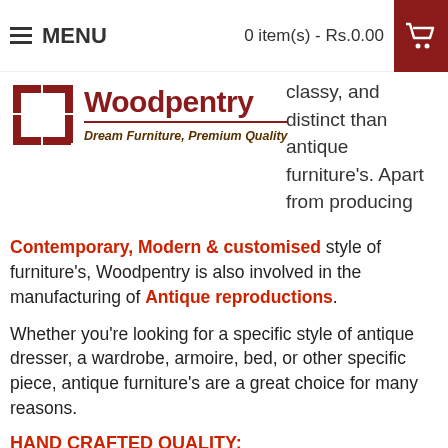MENU   0 item(s) - Rs.0.00
[Figure (logo): Woodpentry logo with geometric symbol and tagline 'Dream Furniture, Premium Quality']
classy, and distinct than antique furniture's. Apart from producing
Contemporary, Modern & customised style of furniture's, Woodpentry is also involved in the manufacturing of Antique reproductions.
Whether you're looking for a specific style of antique dresser, a wardrobe, armoire, bed, or other specific piece, antique furniture's are a great choice for many reasons.
HAND CRAFTED QUALITY:
While the looks of an antique are tough to beat, antique reproductions at Woodpentry are built of top-notch craftsmanship and materials.